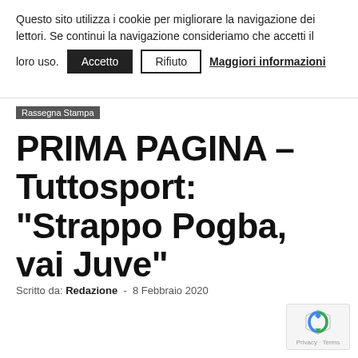Questo sito utilizza i cookie per migliorare la navigazione dei lettori. Se continui la navigazione consideriamo che accetti il loro uso. Accetto Rifiuto Maggiori informazioni
Rassegna Stampa
PRIMA PAGINA – Tuttosport: “Strappo Pogba, vai Juve”
Scritto da: Redazione - 8 Febbraio 2020